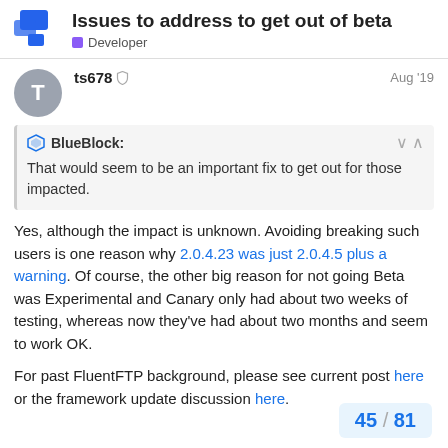Issues to address to get out of beta — Developer
ts678 — Aug '19
BlueBlock: That would seem to be an important fix to get out for those impacted.
Yes, although the impact is unknown. Avoiding breaking such users is one reason why 2.0.4.23 was just 2.0.4.5 plus a warning. Of course, the other big reason for not going Beta was Experimental and Canary only had about two weeks of testing, whereas now they've had about two months and seem to work OK.
For past FluentFTP background, please see current post here or the framework update discussion here.
45 / 81